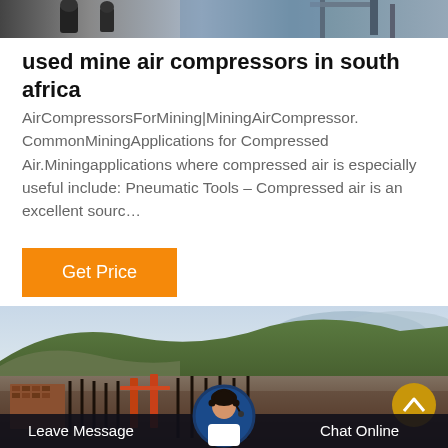[Figure (photo): Top banner image showing mining/industrial workers in a dark environment]
used mine air compressors in south africa
AirCompressorsForMining|MiningAirCompressor. CommonMiningApplications for Compressed Air.Miningapplications where compressed air is especially useful include: Pneumatic Tools – Compressed air is an excellent sourc…
[Figure (illustration): Orange 'Get Price' button]
[Figure (photo): Bottom landscape photo showing a mining site with hills, rubble, brick structures, and fence posts]
[Figure (infographic): Bottom navigation bar with 'Leave Message', customer service avatar, and 'Chat Online' options, plus gold scroll-up button]